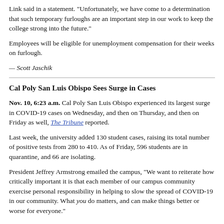Link said in a statement. "Unfortunately, we have come to a determination that such temporary furloughs are an important step in our work to keep the college strong into the future."
Employees will be eligible for unemployment compensation for their weeks on furlough.
— Scott Jaschik
Cal Poly San Luis Obispo Sees Surge in Cases
Nov. 10, 6:23 a.m. Cal Poly San Luis Obispo experienced its largest surge in COVID-19 cases on Wednesday, and then on Thursday, and then on Friday as well, The Tribune reported.
Last week, the university added 130 student cases, raising its total number of positive tests from 280 to 410. As of Friday, 596 students are in quarantine, and 66 are isolating.
President Jeffrey Armstrong emailed the campus, "We want to reiterate how critically important it is that each member of our campus community exercise personal responsibility in helping to slow the spread of COVID-19 in our community. What you do matters, and can make things better or worse for everyone."